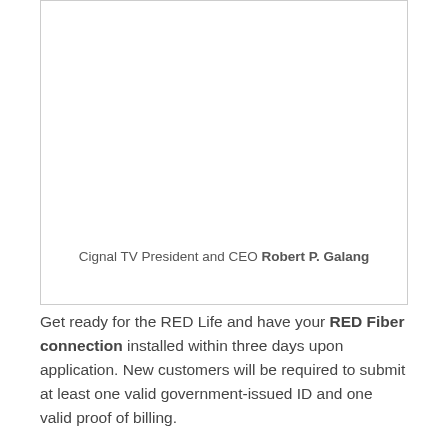[Figure (photo): Photo of Cignal TV President and CEO Robert P. Galang]
Cignal TV President and CEO Robert P. Galang
Get ready for the RED Life and have your RED Fiber connection installed within three days upon application. New customers will be required to submit at least one valid government-issued ID and one valid proof of billing.
RED Fiber is currently available in select areas in Metro Manila, Laguna, Cavite, Tagaytay, Rizal, and Bulacan. For